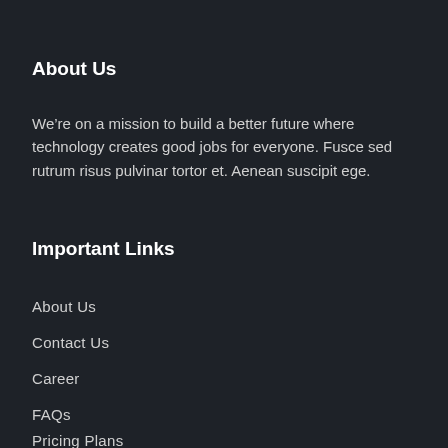About Us
We’re on a mission to build a better future where technology creates good jobs for everyone. Fusce sed rutrum risus pulvinar tortor et. Aenean suscipit ege.
Important Links
About Us
Contact Us
Career
FAQs
Pricing Plans